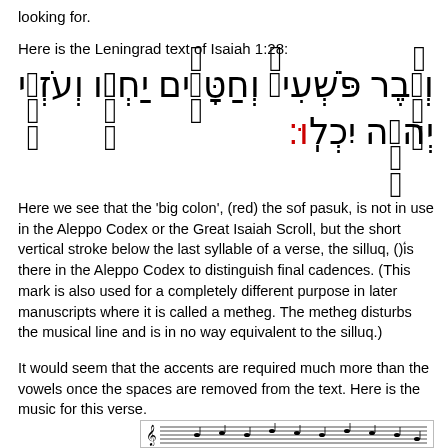looking for.
Here is the Leningrad text of Isaiah 1:28:
[Figure (other): Hebrew text of Isaiah 1:28 in large font with cantillation marks and vowel points, with a red sof pasuk colon at the end]
Here we see that the 'big colon', (red) the sof pasuk, is not in use in the Aleppo Codex or the Great Isaiah Scroll, but the short vertical stroke below the last syllable of a verse, the silluq, (ל)is there in the Aleppo Codex to distinguish final cadences. (This mark is also used for a completely different purpose in later manuscripts where it is called a metheg. The metheg disturbs the musical line and is in no way equivalent to the silluq.)
It would seem that the accents are required much more than the vowels once the spaces are removed from the text. Here is the music for this verse.
[Figure (other): Musical notation staff showing the cantillation melody for Isaiah 1:28 with Hebrew word labels above and transliteration below]